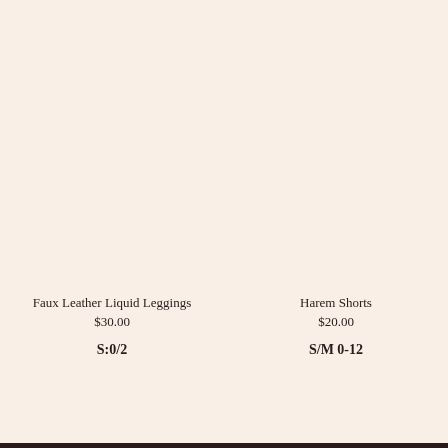Faux Leather Liquid Leggings
$30.00
S:0/2
Harem Shorts
$20.00
S/M 0-12